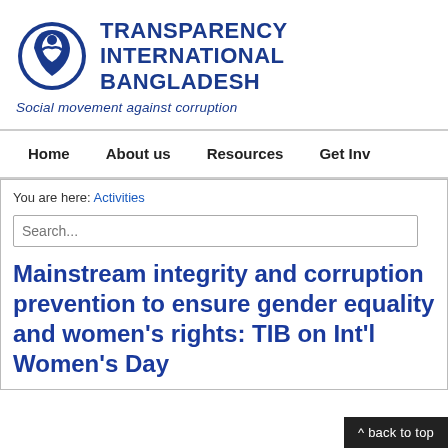[Figure (logo): Transparency International Bangladesh logo — blue circular emblem with stylized figure, next to text 'TRANSPARENCY INTERNATIONAL BANGLADESH' in bold blue, tagline 'Social movement against corruption' in italic blue below]
Home   About us   Resources   Get Inv
You are here: Activities
Search...
Mainstream integrity and corruption prevention to ensure gender equality and women's rights: TIB on Int'l Women's Day